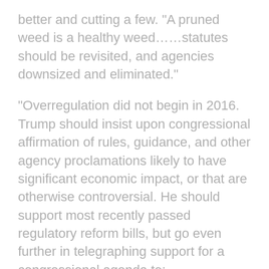better and cutting a few. "A pruned weed is a healthy weed……statutes should be revisited, and agencies downsized and eliminated."
"Overregulation did not begin in 2016. Trump should insist upon congressional affirmation of rules, guidance, and other agency proclamations likely to have significant economic impact, or that are otherwise controversial. He should support most recently passed regulatory reform bills, but go even further in telegraphing support for a congressional agenda to:
"Repeal or amend enabling statutes that sustain regulatory excesses (such as at the Departments of the Interior and Energy, and the Environmental Protection Agency;
"Abolish, downsize, cut the budgets of, and deny